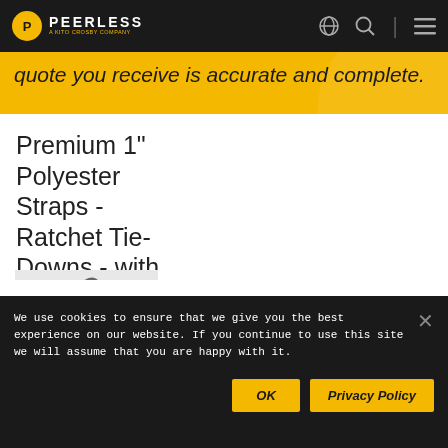PEERLESS - A KITO CROSBY COMPANY
quote you receive is accurate and complete.
Premium 1" Polyester Straps - Ratchet Tie-Downs - with S-Hooks
[Figure (photo): Partial photo of blue polyester ratchet tie-down straps with S-hooks on a grey background]
We use cookies to ensure that we give you the best experience on our website. If you continue to use this site we will assume that you are happy with it.